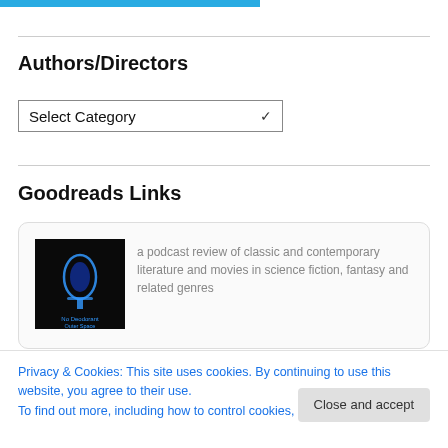[Figure (other): Teal/blue navigation bar at top]
Authors/Directors
Select Category (dropdown)
Goodreads Links
[Figure (other): Podcast thumbnail image with dark background and blue glowing microphone/bottle labeled 'No Deodorant in Outer Space']
a podcast review of classic and contemporary literature and movies in science fiction, fantasy and related genres
Privacy & Cookies: This site uses cookies. By continuing to use this website, you agree to their use.
To find out more, including how to control cookies, see here: Cookie Policy
Close and accept